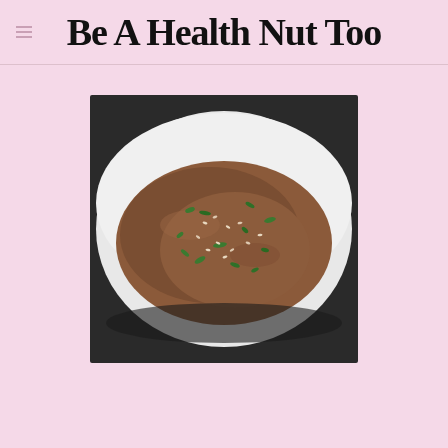Be A Health Nut Too
[Figure (photo): A white bowl filled with brown broth soup garnished with chopped green onions and sesame seeds, photographed from above on a dark background.]